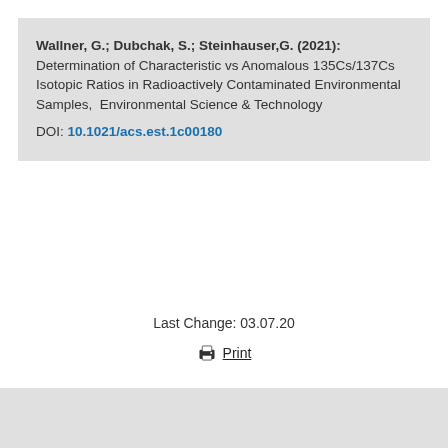Wallner, G.; Dubchak, S.; Steinhauser,G. (2021): Determination of Characteristic vs Anomalous 135Cs/137Cs Isotopic Ratios in Radioactively Contaminated Environmental Samples, Environmental Science & Technology DOI: 10.1021/acs.est.1c00180
Last Change: 03.07.20
Print